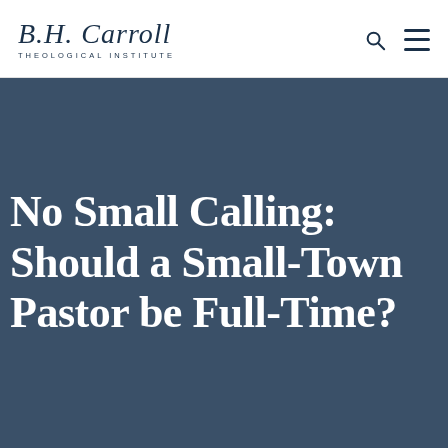B.H. Carroll Theological Institute
No Small Calling: Should a Small-Town Pastor be Full-Time?